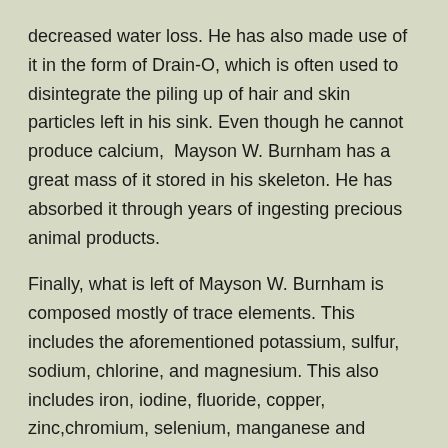decreased water loss. He has also made use of it in the form of Drain-O, which is often used to disintegrate the piling up of hair and skin particles left in his sink. Even though he cannot produce calcium,  Mayson W. Burnham has a great mass of it stored in his skeleton. He has absorbed it through years of ingesting precious animal products.
Finally, what is left of Mayson W. Burnham is composed mostly of trace elements. This includes the aforementioned potassium, sulfur, sodium, chlorine, and magnesium. This also includes iron, iodine, fluoride, copper, zinc,chromium, selenium, manganese and molybdenum. Without these wonderfully minute specks within him, Mayson W. Burnham would cease to function.